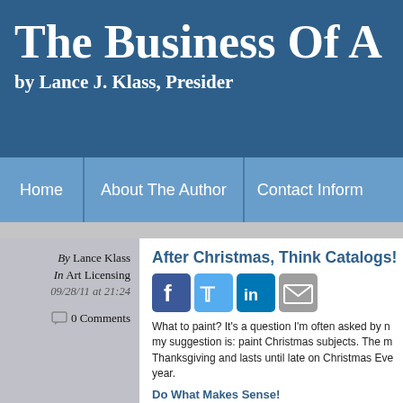The Business Of A by Lance J. Klass, Presider
Home | About The Author | Contact Inform
By Lance Klass
In Art Licensing
09/28/11 at 21:24
0 Comments
After Christmas, Think Catalogs!
[Figure (other): Social sharing icons: Facebook, Twitter, LinkedIn, Email]
What to paint? It's a question I'm often asked by n... my suggestion is: paint Christmas subjects. The m... Thanksgiving and lasts until late on Christmas Eve year.
Do What Makes Sense!